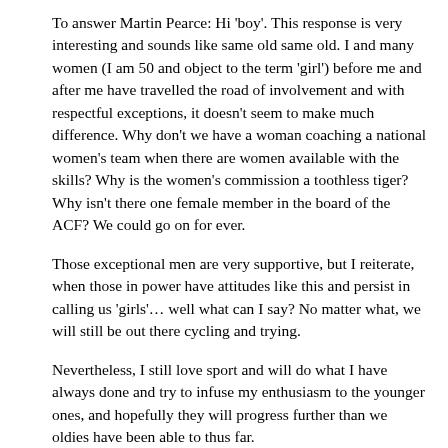To answer Martin Pearce: Hi 'boy'. This response is very interesting and sounds like same old same old. I and many women (I am 50 and object to the term 'girl') before me and after me have travelled the road of involvement and with respectful exceptions, it doesn't seem to make much difference. Why don't we have a woman coaching a national women's team when there are women available with the skills? Why is the women's commission a toothless tiger? Why isn't there one female member in the board of the ACF? We could go on for ever.
Those exceptional men are very supportive, but I reiterate, when those in power have attitudes like this and persist in calling us 'girls'… well what can I say? No matter what, we will still be out there cycling and trying.
Nevertheless, I still love sport and will do what I have always done and try to infuse my enthusiasm to the younger ones, and hopefully they will progress further than we oldies have been able to thus far.
Kate Rowe
Sydney, Australia
Monday, 16 April